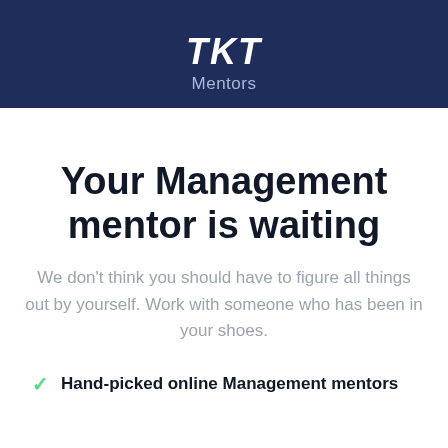TKT Mentors
Your Management mentor is waiting
We don't think you should have to figure all things out by yourself. Work with someone who has been in your shoes.
Hand-picked online Management mentors